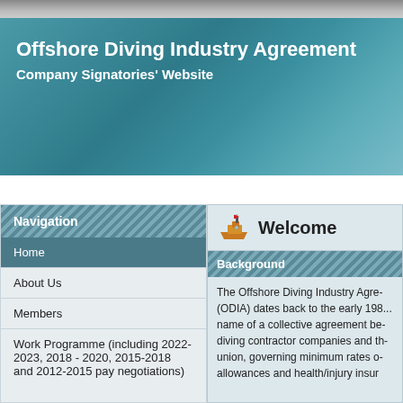Offshore Diving Industry Agreement
Company Signatories' Website
Navigation
Home
About Us
Members
Work Programme (including 2022-2023, 2018 - 2020, 2015-2018 and 2012-2015 pay negotiations)
Welcome
Background
The Offshore Diving Industry Agre... (ODIA) dates back to the early 198... name of a collective agreement be... diving contractor companies and th... union, governing minimum rates o... allowances and health/injury insur...